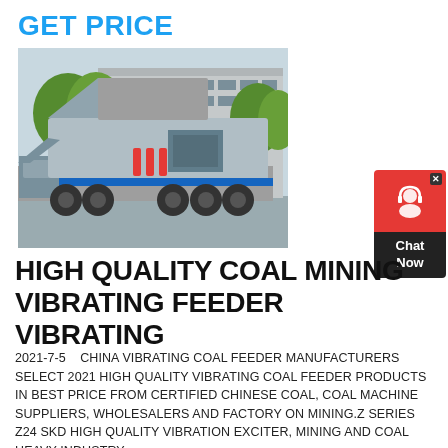GET PRICE
[Figure (photo): Large industrial mobile vibrating feeder/screening machine mounted on a heavy-duty truck trailer, parked in front of a factory building with trees in the background. The machine is grey with red mechanical components.]
[Figure (infographic): Chat Now widget — red top section with headphone/chat icon and close button, dark bottom section with 'Chat Now' text.]
HIGH QUALITY COAL MINING VIBRATING FEEDER VIBRATING
2021-7-5    CHINA VIBRATING COAL FEEDER MANUFACTURERS SELECT 2021 HIGH QUALITY VIBRATING COAL FEEDER PRODUCTS IN BEST PRICE FROM CERTIFIED CHINESE COAL, COAL MACHINE SUPPLIERS, WHOLESALERS AND FACTORY ON MINING.Z SERIES Z24 SKD HIGH QUALITY VIBRATION EXCITER, MINING AND COAL HEAVY INDUSTRY